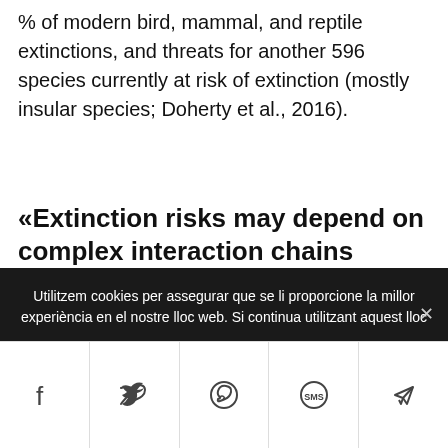% of modern bird, mammal, and reptile extinctions, and threats for another 596 species currently at risk of extinction (mostly insular species; Doherty et al., 2016).
«Extinction risks may depend on complex interaction chains involving more than one natural enemy, mandating
Utilitzem cookies per assegurar que se li proporcione la millor experiència en el nostre lloc web. Si continua utilitzant aquest lloc